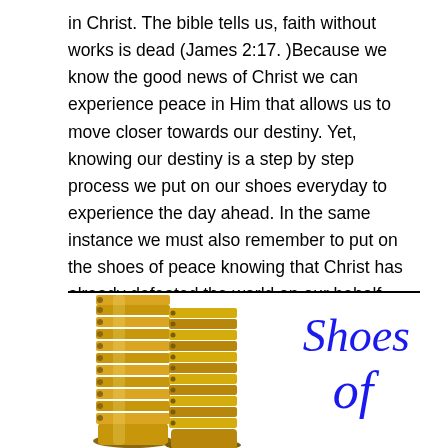in Christ. The bible tells us, faith without works is dead (James 2:17. )Because we know the good news of Christ we can experience peace in Him that allows us to move closer towards our destiny. Yet, knowing our destiny is a step by step process we put on our shoes everyday to experience the day ahead. In the same instance we must also remember to put on the shoes of peace knowing that Christ has already defeated the world on our behalf.
[Figure (illustration): Gold metallic strappy gladiator sandal boots on the left, with italic blue script text reading 'Shoes of' on the right side against a white background, with a thick horizontal rule at the top of the image box.]